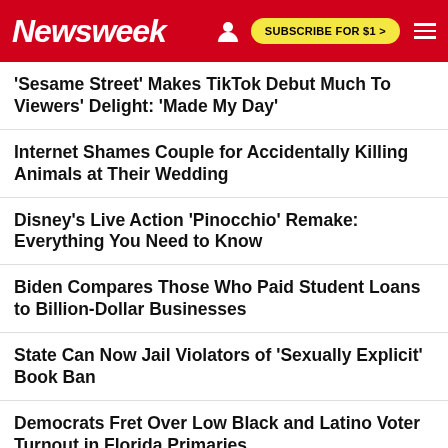Newsweek
'Sesame Street' Makes TikTok Debut Much To Viewers' Delight: 'Made My Day'
Internet Shames Couple for Accidentally Killing Animals at Their Wedding
Disney's Live Action 'Pinocchio' Remake: Everything You Need to Know
Biden Compares Those Who Paid Student Loans to Billion-Dollar Businesses
State Can Now Jail Violators of 'Sexually Explicit' Book Ban
Democrats Fret Over Low Black and Latino Voter Turnout in Florida Primaries
Olivia Wilde Reveals Why She Fired Shia LaBeouf From 'Don't Worry Darling'